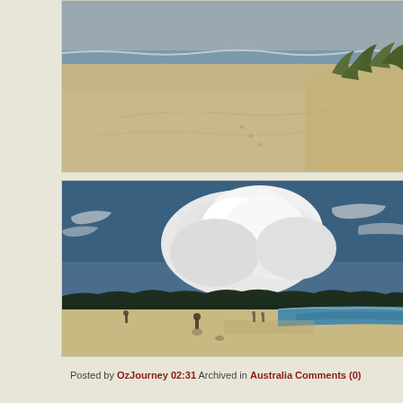[Figure (photo): Beach scene showing sandy shore with sand dunes and vegetation on the right, ocean waves in background, overcast sky — cropped top portion of image]
[Figure (photo): Beach scene showing wide sandy shore with dramatic cumulus clouds against blue sky, treeline on horizon, a few people visible on the beach, ocean waves to the right]
Posted by OzJourney 02:31 Archived in Australia Comments (0)